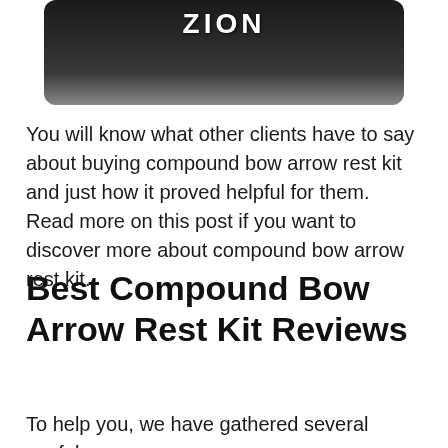[Figure (photo): Partial image of a compound bow or archery equipment with 'ZION' text visible, dark/camouflage background, shown at top of page cropped.]
You will know what other clients have to say about buying compound bow arrow rest kit and just how it proved helpful for them. Read more on this post if you want to discover more about compound bow arrow rest kit.
Best Compound Bow Arrow Rest Kit Reviews
To help you, we have gathered several useful